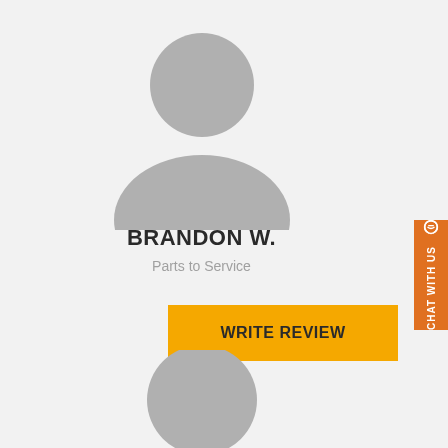[Figure (illustration): Generic grey person/avatar silhouette icon at the top of the page (head circle and shoulder arc in grey)]
BRANDON W.
Parts to Service
[Figure (other): Orange 'WRITE REVIEW' button]
[Figure (illustration): Generic grey person/avatar silhouette icon at the bottom of the page (partial, head circle visible)]
[Figure (other): Orange vertical 'CHAT WITH US' sidebar tab on the right edge with chat bubble icon]